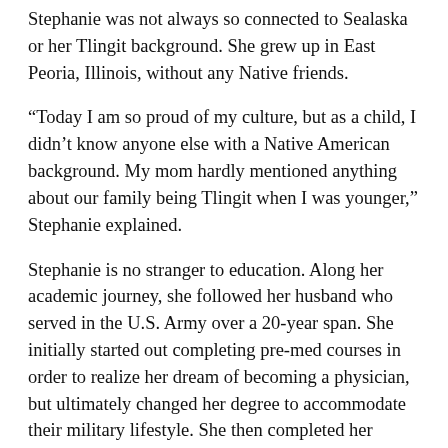Stephanie was not always so connected to Sealaska or her Tlingit background. She grew up in East Peoria, Illinois, without any Native friends.
“Today I am so proud of my culture, but as a child, I didn’t know anyone else with a Native American background. My mom hardly mentioned anything about our family being Tlingit when I was younger,” Stephanie explained.
Stephanie is no stranger to education. Along her academic journey, she followed her husband who served in the U.S. Army over a 20-year span. She initially started out completing pre-med courses in order to realize her dream of becoming a physician, but ultimately changed her degree to accommodate their military lifestyle. She then completed her degree as a licensed practical nurse, an associate degree in nursing (registered nurse), and then a bachelor’s degree in nursing. At the end of 2019, she completed her master’s degree at Georgetown University.